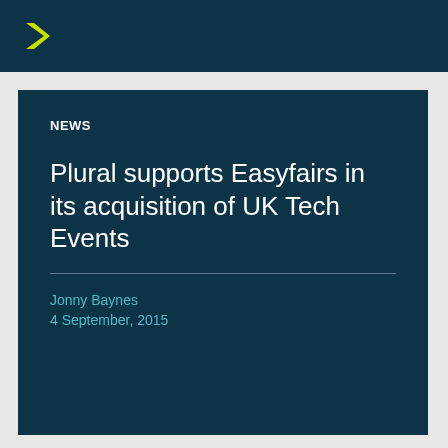[Figure (logo): Dark teal banner with a yellow/lime right-arrow chevron icon]
NEWS
Plural supports Easyfairs in its acquisition of UK Tech Events
Jonny Baynes
4 September, 2015